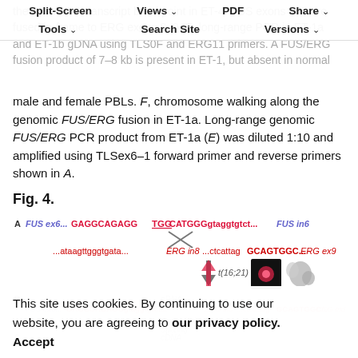the FUS/ERG transcript breakpoint in ET-4. FUS exons 1–7 are fused in-frame to ERG exons 8–9. E, long-range PCR in ET-1a and ET-1b gDNA using TLS0F and ERG11 primers. A FUS/ERG fusion product of 7–8 kb is present in ET-1, but absent in normal male and female PBLs. F, chromosome walking along the genomic FUS/ERG fusion in ET-1a. Long-range genomic FUS/ERG PCR product from ET-1a (E) was diluted 1:10 and amplified using TLSex6–1 forward primer and reverse primers shown in A.
Split-Screen | Views | PDF | Share | Tools | Search Site | Versions
Fig. 4.
[Figure (illustration): Diagram showing FUS/ERG genomic fusion. Row A: FUS ex6...GAGGCAGAGGTGGCATGGGgtaggtgtct...FUS in6 (top, in blue/red bold) with X cross symbol, then ...ataagttgggtgata...ERG in8...ctcattagGCAGTGGC...ERG ex9 (bottom, in red). Arrow down labeled t(16;21) with arrow up, then FISH image (dark pink spot) and chromosome image. Row B (faded): gDNA label, FUS ex6...GAGGCAGAGGgtaggtgtct...ERG in8...ctcattagGCAGTGGC...ERG ex9 with Transcription label. Row C (faded): cDNA label. Splicing label.]
This site uses cookies. By continuing to use our website, you are agreeing to our privacy policy. Accept